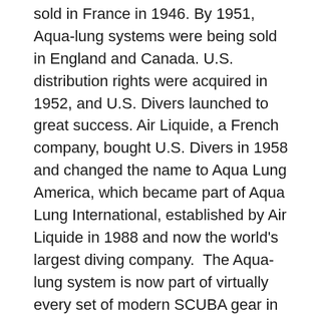sold in France in 1946. By 1951, Aqua-lung systems were being sold in England and Canada. U.S. distribution rights were acquired in 1952, and U.S. Divers launched to great success. Air Liquide, a French company, bought U.S. Divers in 1958 and changed the name to Aqua Lung America, which became part of Aqua Lung International, established by Air Liquide in 1988 and now the world's largest diving company.  The Aqua-lung system is now part of virtually every set of modern SCUBA gear in the world, with thousands upon thousands of units sold, and recreational scuba diving has become an international phenomenon.
In 1947, Gagnan emigrated with his family to Montreal, Canada, where he began working for Canadian Liquid Air Ltd.  He set up a lab there and designed and developed a large number of